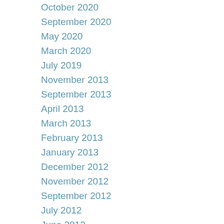October 2020
September 2020
May 2020
March 2020
July 2019
November 2013
September 2013
April 2013
March 2013
February 2013
January 2013
December 2012
November 2012
September 2012
July 2012
June 2012
May 2012